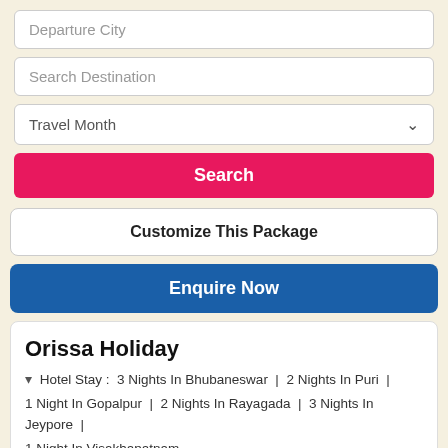Departure City
Search Destination
Travel Month
Search
Customize This Package
Enquire Now
Orissa Holiday
Hotel Stay : 3 Nights In Bhubaneswar | 2 Nights In Puri | 1 Night In Gopalpur | 2 Nights In Rayagada | 3 Nights In Jeypore | 1 Night In Visakhapatnam
Package Inclusions
Welcome drink on arrival
Send Us Enquiry +